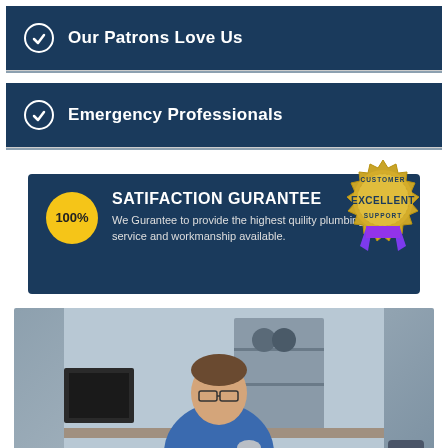Our Patrons Love Us
Emergency Professionals
[Figure (infographic): 100% Satisfaction Guarantee banner with gold seal badge reading CUSTOMER EXCELLENT SUPPORT with purple ribbon. Text: SATIFACTION GURANTEE - We Gurantee to provide the highest quility plumbing service and workmanship available.]
[Figure (photo): A man wearing glasses and a blue uniform sits at a desk holding a plumbing fitting, with a computer monitor and shelving with pipes and supplies in the background.]